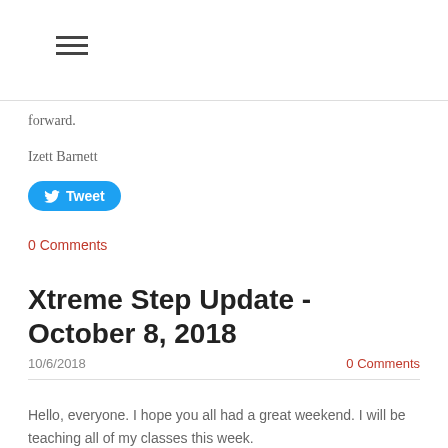☰ (hamburger menu icon)
forward.
Izett Barnett
[Figure (other): Twitter Tweet button (blue rounded rectangle with bird icon and 'Tweet' text)]
0 Comments
Xtreme Step Update - October 8, 2018
10/6/2018      0 Comments
Hello, everyone.  I hope you all had a great weekend.  I will be teaching all of my classes this week.
Schedule